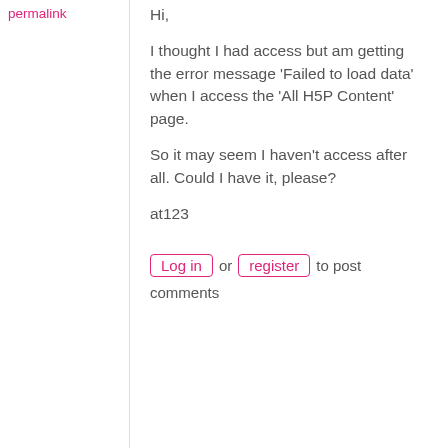permalink
Hi,

I thought I had access but am getting the error message 'Failed to load data' when I access the 'All H5P Content' page.

So it may seem I haven't access after all. Could I have it, please?

at123
Log in or register to post comments